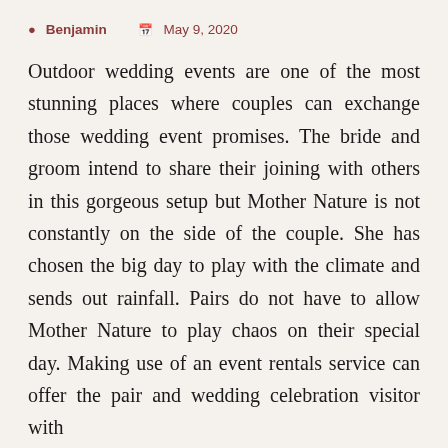Benjamin  May 9, 2020
Outdoor wedding events are one of the most stunning places where couples can exchange those wedding event promises. The bride and groom intend to share their joining with others in this gorgeous setup but Mother Nature is not constantly on the side of the couple. She has chosen the big day to play with the climate and sends out rainfall. Pairs do not have to allow Mother Nature to play chaos on their special day. Making use of an event rentals service can offer the pair and wedding celebration visitor with